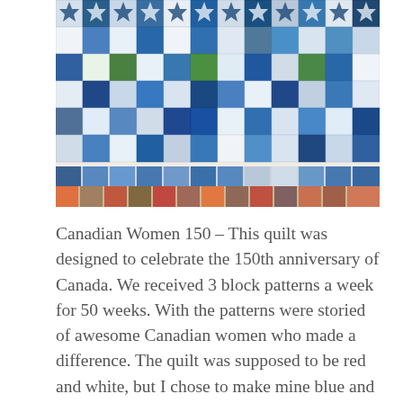[Figure (photo): A photograph of a quilt called Canadian Women 150, showing a large patchwork quilt with many different geometric block patterns in blue, white, and touches of green, with a blue striped border section and a multicolored bottom border visible.]
Canadian Women 150 – This quilt was designed to celebrate the 150th anniversary of Canada. We received 3 block patterns a week for 50 weeks. With the patterns were storied of awesome Canadian women who made a difference. The quilt was supposed to be red and white, but I chose to make mine blue and white with a touch of green. I hand quilted each row as I finished piecing it. Each row was sewn together in the quilt...